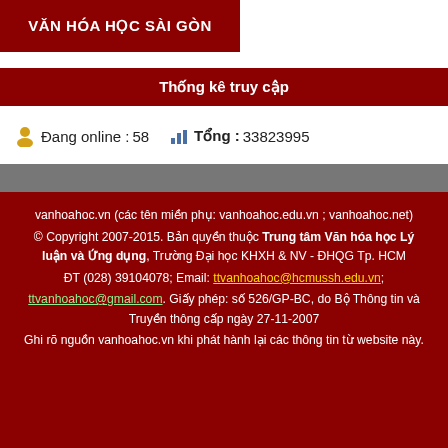[Figure (logo): Red banner with white bold text VĂN HÓA HỌC SÀI GÒN]
Thống kê truy cập
Đang online : 58   Tổng : 33823995
vanhoahoc.vn (các tên miền phụ: vanhoahoc.edu.vn ; vanhoahoc.net)
© Copyright 2007-2015. Bản quyền thuộc Trung tâm Văn hóa học Lý luận và Ứng dụng, Trường Đại học KHXH & NV - ĐHQG Tp. HCM
ĐT (028) 39104078; Email: ttvanhoahoc@hcmussh.edu.vn; ttvanhoahoc@gmail.com. Giấy phép: số 526/GP-BC, do Bộ Thông tin và Truyền thông cấp ngày 27-11-2007
Ghi rõ nguồn vanhoahoc.vn khi phát hành lại các thông tin từ website này.